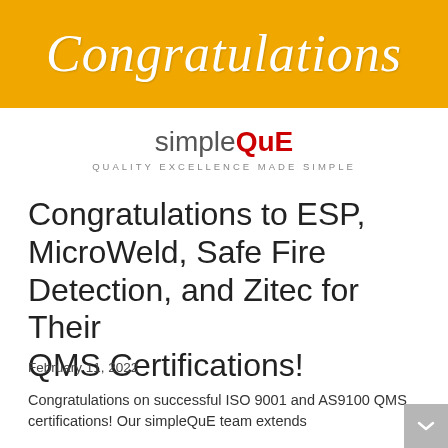[Figure (illustration): Golden/orange banner with cursive white 'Congratulations' text]
[Figure (logo): simpleQuE logo — 'simple' in gray, 'QuE' in red bold — with tagline 'QUALITY EXCELLENCE MADE SIMPLE']
Congratulations to ESP, MicroWeld, Safe Fire Detection, and Zitec for Their QMS Certifications!
February 11, 2022
Congratulations on successful ISO 9001 and AS9100 QMS certifications! Our simpleQuE team extends congratulations to ESP, base MicroWeld Foo base and